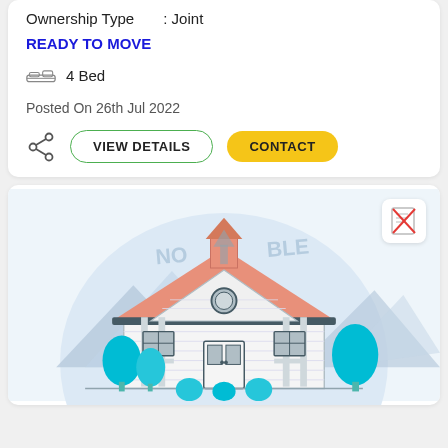Ownership Type : Joint
READY TO MOVE
4 Bed
Posted On 26th Jul 2022
VIEW DETAILS   CONTACT
[Figure (illustration): Illustration of a house with teal trees, salmon/pink roof, white walls, blue-grey details, and background mountains. Watermark text 'NO IMAGE AVAILABLE' visible.]